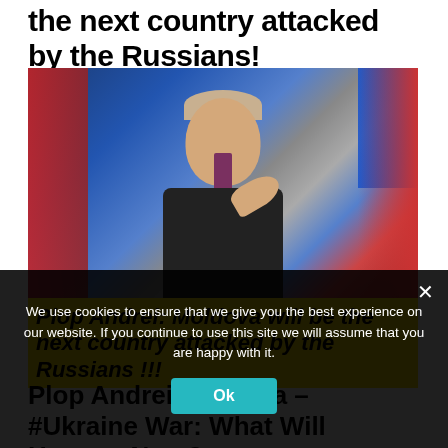the next country attacked by the Russians!
[Figure (photo): Photo of a man in a dark suit pointing his finger, standing in front of Russian flags. Overlaid with a yellow banner reading: Plop Andrei: Moldova will be the next country attacked by the Russians !!!]
Plop Andrei/ #Russia – #Ukraine War: What Will Happen Next?
We use cookies to ensure that we give you the best experience on our website. If you continue to use this site we will assume that you are happy with it.